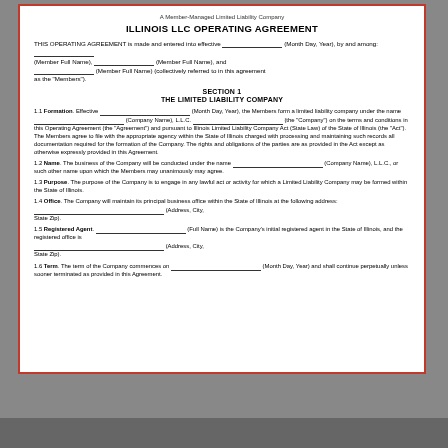A Member-Managed Limited Liability Company
ILLINOIS LLC OPERATING AGREEMENT
THIS OPERATING AGREEMENT is made and entered into effective ___________________ (Month Day, Year), by and among: ___________________ (Member Full Name), ___________________ (Member Full Name), and ___________________ (Member Full Name) (collectively referred to in this agreement as the "Members").
SECTION 1
THE LIMITED LIABILITY COMPANY
1.1 Formation. Effective ___________________ (Month Day, Year), the Members form a limited liability company under the name ___________________ (Company Name), L.L.C. ___________________ (the "Company") on the terms and conditions in this Operating Agreement (the "Agreement") and pursuant to Illinois Limited Liability Company Act (State Law) of the State of Illinois (the "Act"). The Members agree to file with the appropriate agency within the State of Illinois charged with processing and maintaining such records all documentation required for the formation of the Company. The rights and obligations of the parties are as provided in the Act except as otherwise expressly provided in this Agreement.
1.2 Name. The business of the Company will be conducted under the name ___________________ (Company Name), L.L.C., or such other name upon which the Members may unanimously may agree.
1.3 Purpose. The purpose of the Company is to engage in any lawful act or activity for which a Limited Liability Company may be formed within the State of Illinois.
1.4 Office. The Company will maintain its principal business office within the State of Illinois at the following address: ___________________ (Address, City, State Zip).
1.5 Registered Agent. ___________________ (Full Name) is the Company's initial registered agent in the State of Illinois, and the registered office is ___________________ (Address, City, State Zip).
1.6 Term. The term of the Company commences on ___________________ (Month Day, Year) and shall continue perpetually unless sooner terminated as provided in this Agreement.